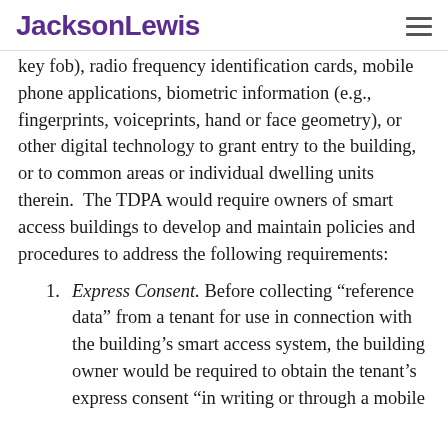JacksonLewis
key fob), radio frequency identification cards, mobile phone applications, biometric information (e.g., fingerprints, voiceprints, hand or face geometry), or other digital technology to grant entry to the building, or to common areas or individual dwelling units therein.  The TDPA would require owners of smart access buildings to develop and maintain policies and procedures to address the following requirements:
Express Consent. Before collecting “reference data” from a tenant for use in connection with the building’s smart access system, the building owner would be required to obtain the tenant’s express consent “in writing or through a mobile